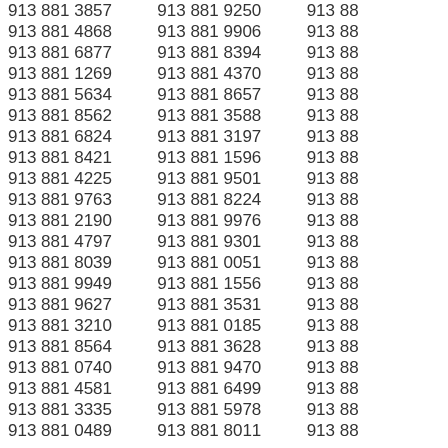Column of phone numbers: 913 881 3857, 913 881 4868, 913 881 6877, 913 881 1269, 913 881 5634, 913 881 8562, 913 881 6824, 913 881 8421, 913 881 4225, 913 881 9763, 913 881 2190, 913 881 4797, 913 881 8039, 913 881 9949, 913 881 9627, 913 881 3210, 913 881 8564, 913 881 0740, 913 881 4581, 913 881 3335, 913 881 0489
Column of phone numbers: 913 881 9250, 913 881 9906, 913 881 8394, 913 881 4370, 913 881 8657, 913 881 3588, 913 881 3197, 913 881 1596, 913 881 9501, 913 881 8224, 913 881 9976, 913 881 9301, 913 881 0051, 913 881 1556, 913 881 3531, 913 881 0185, 913 881 3628, 913 881 9470, 913 881 6499, 913 881 5978, 913 881 8011
Column of phone numbers (truncated): 913 88...(repeated)